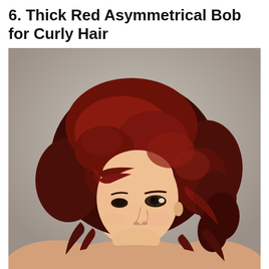6. Thick Red Asymmetrical Bob for Curly Hair
[Figure (photo): Woman with thick red asymmetrical curly bob hairstyle, smiling, photographed against a neutral gray background. The hair is voluminous, dark red/auburn with curls and side-swept bangs.]